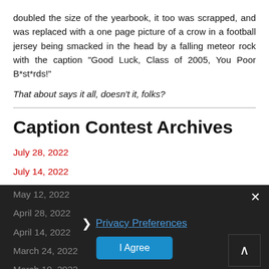doubled the size of the yearbook, it too was scrapped, and was replaced with a one page picture of a crow in a football jersey being smacked in the head by a falling meteor rock with the caption "Good Luck, Class of 2005, You Poor B*st*rds!"
That about says it all, doesn't it, folks?
Caption Contest Archives
July 28, 2022
July 14, 2022
June 23, 2022
June 9, 2022
May 26, 2022
May 12, 2022
April 28, 2022
April 14, 2022
March 24, 2022
March 10, 2022
February 24, 2022